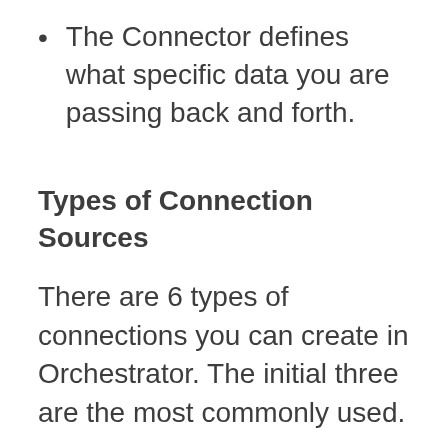The Connector defines what specific data you are passing back and forth.
Types of Connection Sources
There are 6 types of connections you can create in Orchestrator. The initial three are the most commonly used.